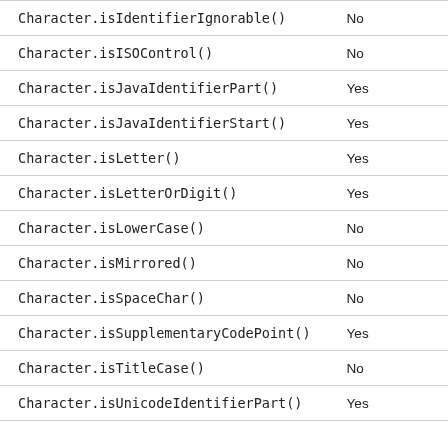| Character.isIdentifierIgnorable() | No |
| Character.isISOControl() | No |
| Character.isJavaIdentifierPart() | Yes |
| Character.isJavaIdentifierStart() | Yes |
| Character.isLetter() | Yes |
| Character.isLetterOrDigit() | Yes |
| Character.isLowerCase() | No |
| Character.isMirrored() | No |
| Character.isSpaceChar() | No |
| Character.isSupplementaryCodePoint() | Yes |
| Character.isTitleCase() | No |
| Character.isUnicodeIdentifierPart() | Yes |